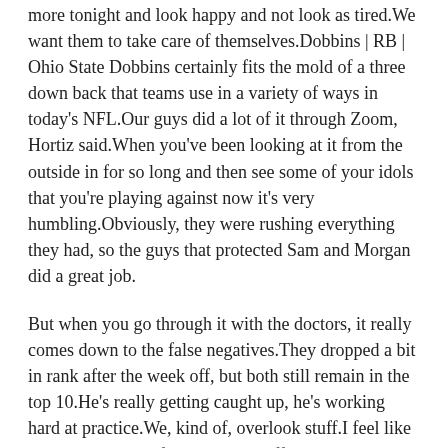more tonight and look happy and not look as tired.We want them to take care of themselves.Dobbins | RB | Ohio State Dobbins certainly fits the mold of a three down back that teams use in a variety of ways in today's NFL.Our guys did a lot of it through Zoom, Hortiz said.When you've been looking at it from the outside in for so long and then see some of your idols that you're playing against now it's very humbling.Obviously, they were rushing everything they had, so the guys that protected Sam and Morgan did a great job.
But when you go through it with the doctors, it really comes down to the false negatives.They dropped a bit in rank after the week off, but both still remain in the top 10.He's really getting caught up, he's working hard at practice.We, kind of, overlook stuff.I feel like I'm just more comfortable in the offense, and really, with everything 'with route running, blocking and knowing how I can gain more role in this offense.